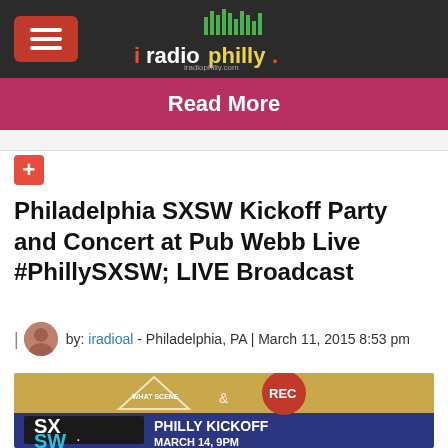iRadioPhilly
Read More
+
Philadelphia SXSW Kickoff Party and Concert at Pub Webb Live #PhillySXSW; LIVE Broadcast
by: iradioal - Philadelphia, PA | March 11, 2015 8:53 pm
[Figure (illustration): Promotional image for SXSW Philly Kickoff event showing 'What Scene & REC' logos at top and SXSW logo with text 'PHILLY KICKOFF MARCH 14, 9PM' at bottom]